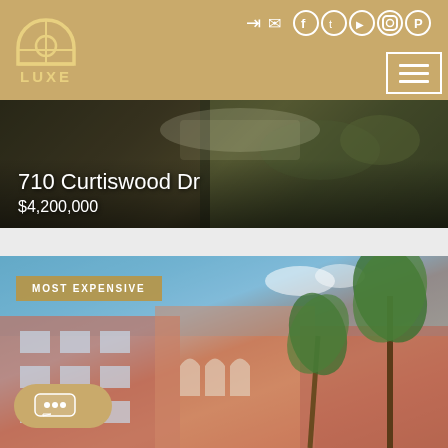[Figure (logo): LUXE real estate logo, golden arch/dome icon with stylized text LUXE below]
[Figure (infographic): Header navigation icons: login arrow, mail/envelope, Facebook, Twitter, YouTube, Instagram, Pinterest circles in white on gold background]
[Figure (infographic): Hamburger menu button: three horizontal white lines in white bordered rectangle]
[Figure (photo): Aerial/overhead dark photo of 710 Curtiswood Dr property, showing rooftop and landscaping]
710 Curtiswood Dr
$4,200,000
MOST EXPENSIVE
[Figure (photo): Photo of a Mediterranean-style luxury mansion with red/terracotta facade, white balconies, arched windows, and palm trees under blue sky]